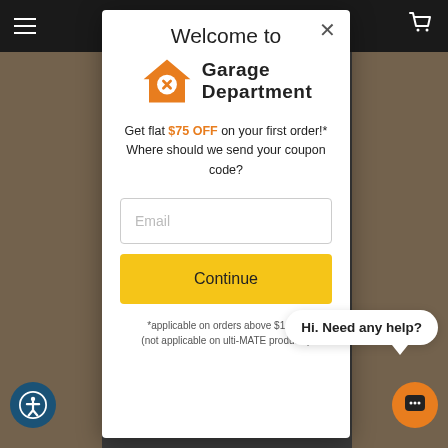[Figure (screenshot): Dark top navigation bar with hamburger menu icon on left and cart icon on right]
Welcome to
[Figure (logo): Garage Department logo: orange house icon with wrench and two-line bold text 'Garage Department']
Get flat $75 OFF on your first order!* Where should we send your coupon code?
Email
Continue
Hi. Need any help?
*applicable on orders above $1,000 (not applicable on ulti-MATE products)